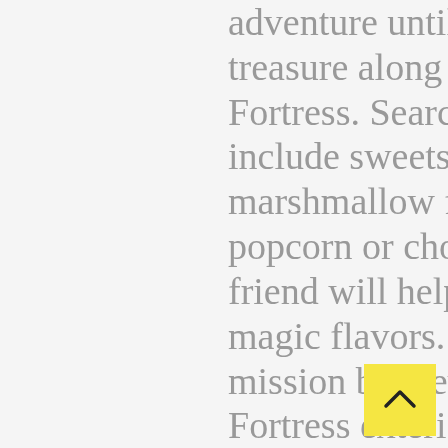adventure until you find the final treasure along the way to El Morro Fortress. Search for great city goods that include sweets and treats like marshmallow frozen yogurt and hidden popcorn or chocolate where your Pirate friend will help you create your favorite magic flavors. Accomplish your final mission by elevating a kite at El Morro Fortress exteriors so his friends from the sea can find him and take him to the other side. A trail through mystery and knowledge, reality and legends that will make your experience in San Juan memorable. At the end of the
[Figure (other): Yellow scroll-to-top button with upward chevron arrow in bottom-right corner]